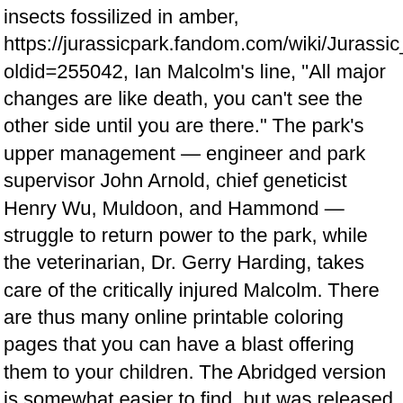insects fossilized in amber, https://jurassicpark.fandom.com/wiki/Jurassic_Park_(novel)?oldid=255042, Ian Malcolm's line, "All major changes are like death, you can't see the other side until you are there." The park's upper management — engineer and park supervisor John Arnold, chief geneticist Henry Wu, Muldoon, and Hammond — struggle to return power to the park, while the veterinarian, Dr. Gerry Harding, takes care of the critically injured Malcolm. There are thus many online printable coloring pages that you can have a blast offering them to your children. The Abridged version is somewhat easier to find, but was released on cassette only. It was also given good reviews by critics. Malcolm suggests a flaw in their method of analyzing dinosaur populations, in that motion detectors were set to search only for the expected number of creatures in the park and not for any higher number. Sam Neill shows a bone to Joseph Mazzello and Ariana Richards in a scene from the film 'Jurassic Park', 1993. The Unabridged is read by William Roberts, and is approx 13 hours, 55 minutes and is on 12 CDs